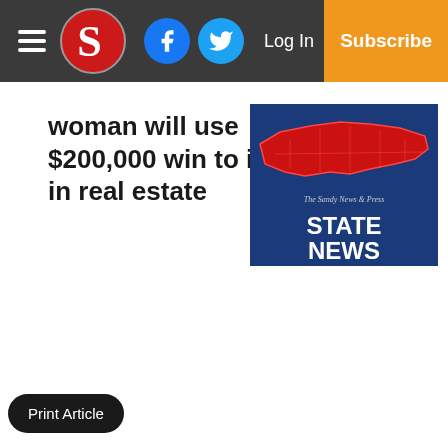Sandy News & Press — Log In | Subscribe
woman will use $200,000 win to invest in real estate
[Figure (screenshot): The Sandy News & Press 'STATE NEWS' graphic showing a red map of North Carolina on a blue background]
Print Article